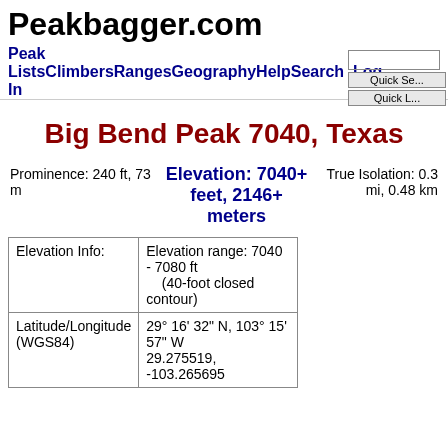Peakbagger.com
Peak Lists Climbers Ranges Geography Help Search Log In
Big Bend Peak 7040, Texas
Prominence: 240 ft, 73 m
Elevation: 7040+ feet, 2146+ meters
True Isolation: 0.3 mi, 0.48 km
|  |  |
| --- | --- |
| Elevation Info: | Elevation range: 7040 - 7080 ft
    (40-foot closed contour) |
| Latitude/Longitude (WGS84) | 29° 16' 32" N, 103° 15' 57" W
29.275519, -103.265695 |